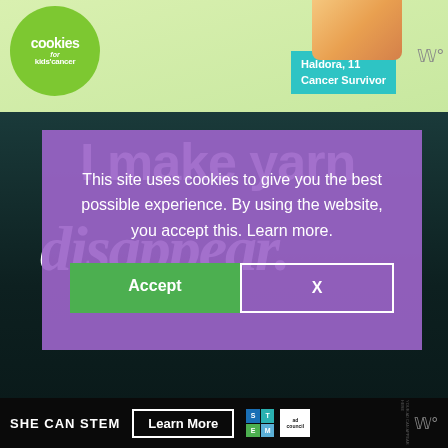[Figure (photo): Cookies for Kids' Cancer advertisement banner showing green circle logo, a child holding food, and 'Haldora, 11 Cancer Survivor' teal callout]
This site uses cookies to give you the best possible experience. By using the website, you accept this. Learn more.
[Figure (other): Accept / X buttons for cookie consent dialog]
[Figure (photo): Background image with text 'I make yarn disappear.' in large white font on dark teal background]
[Figure (photo): SHE CAN STEM advertisement banner with Learn More button, STEM logo, and Ad Council logo on black background]